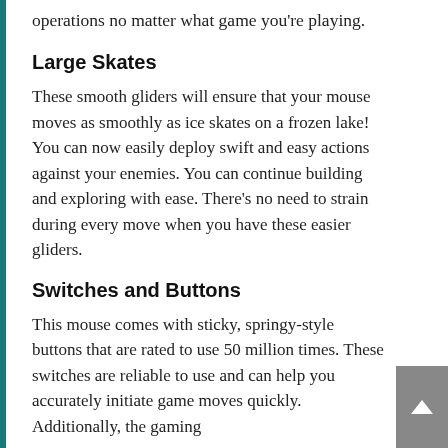operations no matter what game you're playing.
Large Skates
These smooth gliders will ensure that your mouse moves as smoothly as ice skates on a frozen lake! You can now easily deploy swift and easy actions against your enemies. You can continue building and exploring with ease. There's no need to strain during every move when you have these easier gliders.
Switches and Buttons
This mouse comes with sticky, springy-style buttons that are rated to use 50 million times. These switches are reliable to use and can help you accurately initiate game moves quickly. Additionally, the gaming